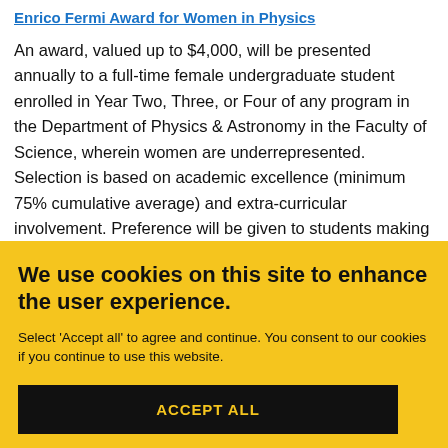Enrico Fermi Award for Women in Physics
An award, valued up to $4,000, will be presented annually to a full-time female undergraduate student enrolled in Year Two, Three, or Four of any program in the Department of Physics & Astronomy in the Faculty of Science, wherein women are underrepresented. Selection is based on academic excellence (minimum 75% cumulative average) and extra-curricular involvement. Preference will be given to students making an effort to advance women in science (e.g., involvement in FemPhys Club, or Women in Science Society, etc.) and/or who have completed an Undergraduate Research Assistantship (URA)
We use cookies on this site to enhance the user experience.
Select 'Accept all' to agree and continue. You consent to our cookies if you continue to use this website.
ACCEPT ALL